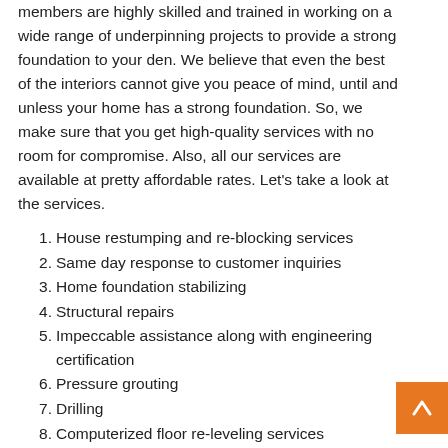members are highly skilled and trained in working on a wide range of underpinning projects to provide a strong foundation to your den. We believe that even the best of the interiors cannot give you peace of mind, until and unless your home has a strong foundation. So, we make sure that you get high-quality services with no room for compromise. Also, all our services are available at pretty affordable rates. Let's take a look at the services.
House restumping and re-blocking services
Same day response to customer inquiries
Home foundation stabilizing
Structural repairs
Impeccable assistance along with engineering certification
Pressure grouting
Drilling
Computerized floor re-leveling services
Jacking foundations
Use of concrete pumps, if needed